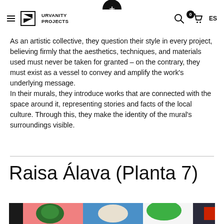URVANITY PROJECTS — navigation header with search, cart (0), ES language selector
As an artistic collective, they question their style in every project, believing firmly that the aesthetics, techniques, and materials used must never be taken for granted – on the contrary, they must exist as a vessel to convey and amplify the work's underlying message.
In their murals, they introduce works that are connected with the space around it, representing stories and facts of the local culture. Through this, they make the identity of the mural's surroundings visible.
Raisa Álava (Planta 7)
[Figure (photo): Colorful mural artwork showing stylized figures and shapes with bold colors including green, blue, pink, red, and black.]